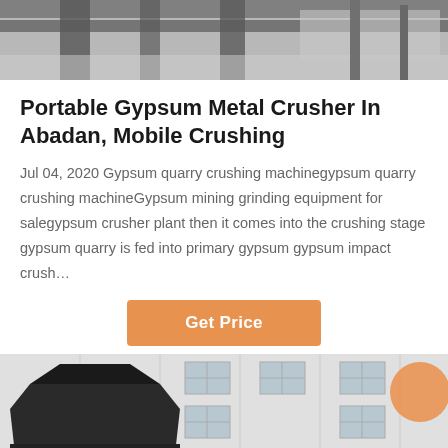[Figure (photo): Top portion of industrial/construction equipment, partially cropped, showing metal beams and structural elements against light background.]
Portable Gypsum Metal Crusher In Abadan, Mobile Crushing
Jul 04, 2020 Gypsum quarry crushing machinegypsum quarry crushing machineGypsum mining grinding equipment for salegypsum crusher plant then it comes into the crushing stage gypsum quarry is fed into primary gypsum gypsum impact crush…
[Figure (other): Orange 'Get Price' button]
[Figure (photo): Black industrial crushing/screening equipment in front of a white multi-story industrial building with grid windows. Orange circle visible top right.]
Leave Message   Chat Online